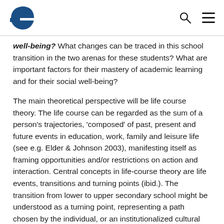[Logo: e] [Search icon] [Menu icon]
well-being? What changes can be traced in this school transition in the two arenas for these students? What are important factors for their mastery of academic learning and for their social well-being?
The main theoretical perspective will be life course theory. The life course can be regarded as the sum of a person's trajectories, 'composed' of past, present and future events in education, work, family and leisure life (see e.g. Elder & Johnson 2003), manifesting itself as framing opportunities and/or restrictions on action and interaction. Central concepts in life-course theory are life events, transitions and turning points (ibid.). The transition from lower to upper secondary school might be understood as a turning point, representing a path chosen by the individual, or an institutionalized cultural re-direction of the life course. By